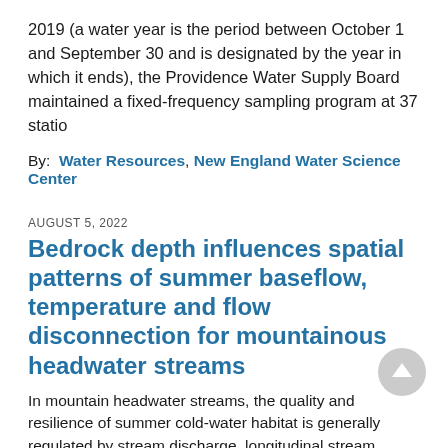2019 (a water year is the period between October 1 and September 30 and is designated by the year in which it ends), the Providence Water Supply Board maintained a fixed-frequency sampling program at 37 statio
By: Water Resources, New England Water Science Center
AUGUST 5, 2022
Bedrock depth influences spatial patterns of summer baseflow, temperature and flow disconnection for mountainous headwater streams
In mountain headwater streams, the quality and resilience of summer cold-water habitat is generally regulated by stream discharge, longitudinal stream